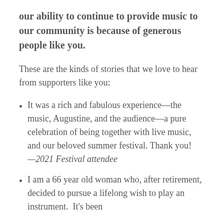our ability to continue to provide music to our community is because of generous people like you.
These are the kinds of stories that we love to hear from supporters like you:
It was a rich and fabulous experience—the music, Augustine, and the audience—a pure celebration of being together with live music, and our beloved summer festival. Thank you! —2021 Festival attendee
I am a 66 year old woman who, after retirement, decided to pursue a lifelong wish to play an instrument.  It's been